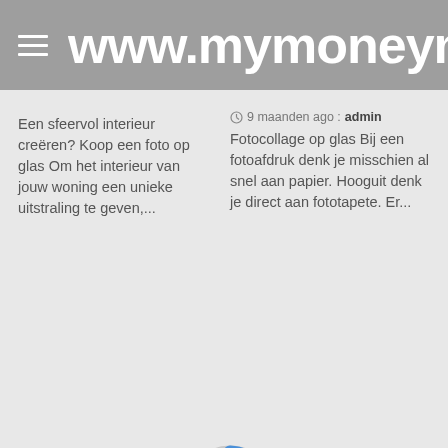www.mymoneyman
Een sfeervol interieur creëren? Koop een foto op glas Om het interieur van jouw woning een unieke uitstraling te geven,...
9 maanden ago  admin
Fotocollage op glas Bij een fotoafdruk denk je misschien al snel aan papier. Hooguit denk je direct aan fototapete. Er...
[Figure (other): Loading spinner — a circular donut-style progress indicator with a blue arc segment on a light grey circle ring]
We use cookies on our website to give you the most relevant experience by remembering your preferences and repeat visits. By clicking "Accept All", you consent to the use of ALL the cookies. However, you may visit "Cookie Settings" to provide a controlled consent.
Cookie Settings   Accept All